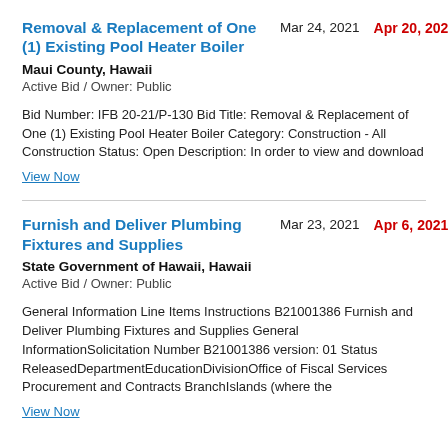Removal & Replacement of One (1) Existing Pool Heater Boiler
Mar 24, 2021   Apr 20, 2021
Maui County, Hawaii
Active Bid / Owner: Public
Bid Number: IFB 20-21/P-130 Bid Title: Removal & Replacement of One (1) Existing Pool Heater Boiler Category: Construction - All Construction Status: Open Description: In order to view and download
View Now
Furnish and Deliver Plumbing Fixtures and Supplies
Mar 23, 2021   Apr 6, 2021
State Government of Hawaii, Hawaii
Active Bid / Owner: Public
General Information Line Items Instructions B21001386 Furnish and Deliver Plumbing Fixtures and Supplies General InformationSolicitation Number B21001386 version: 01 Status ReleasedDepartmentEducationDivisionOffice of Fiscal Services Procurement and Contracts BranchIslands (where the
View Now